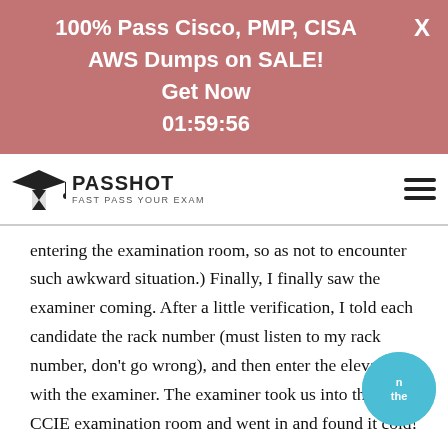[Figure (other): Promotional banner with rose/mauve background showing text: 100% Pass Cisco, PMP, CISA AWS Dumps on SALE! Get Now 01:59:56, with an X close button in top right corner]
[Figure (logo): Passhot logo with icon of graduation cap and hourglass, text PASSHOT and tagline FAST PASS YOUR EXAM, with hamburger menu icon on the right]
entering the examination room, so as not to encounter such awkward situation.) Finally, I finally saw the examiner coming. After a little verification, I told each candidate the rack number (must listen to my rack number, don't go wrong), and then enter the elevator with the examiner. The examiner took us into the Cisco CCIE examination room and went in and found it cold! On the same day, the outdoor temperature was 35 degrees, and the examination room felt less than 20 degrees. Fortunately, I brought my own natural fat (one chubby one), not afraid of cold. Fear of cold classmates! Be sure to bring a coat, or freeze it into a dog! Frozen into a dog! Frozen into a dog!